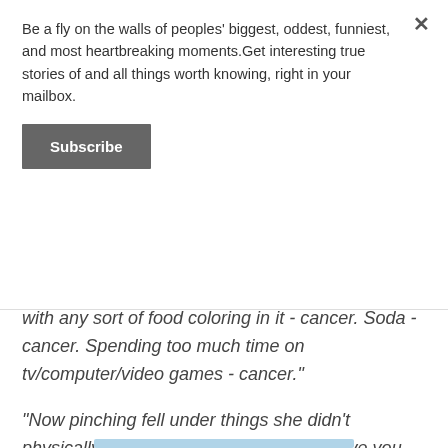Be a fly on the walls of peoples' biggest, oddest, funniest, and most heartbreaking moments.Get interesting true stories of and all things worth knowing, right in your mailbox.
Subscribe
with any sort of food coloring in it - cancer. Soda - cancer. Spending too much time on tv/computer/video games - cancer."
"Now pinching fell under things she didn't physically want me doing. Those didn't give you cancer, they gave you blood clots..."
silenttd